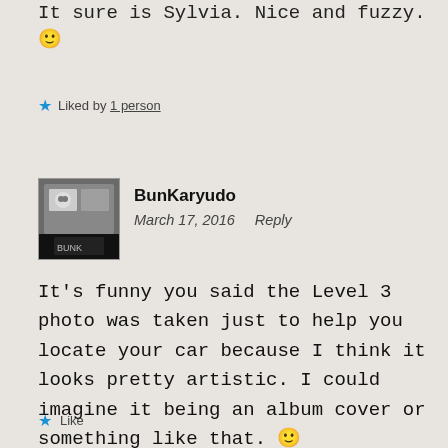It sure is Sylvia. Nice and fuzzy. 🙂
⭐ Liked by 1 person
BunKaryudo
March 17, 2016   Reply
It's funny you said the Level 3 photo was taken just to help you locate your car because I think it looks pretty artistic. I could imagine it being an album cover or something like that. 🙂
⭐ Like